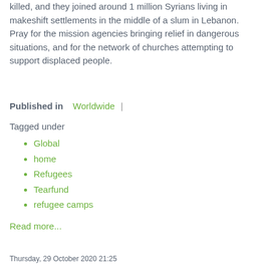killed, and they joined around 1 million Syrians living in makeshift settlements in the middle of a slum in Lebanon. Pray for the mission agencies bringing relief in dangerous situations, and for the network of churches attempting to support displaced people.
Published in  Worldwide |
Tagged under
Global
home
Refugees
Tearfund
refugee camps
Read more...
Thursday, 29 October 2020 21:25